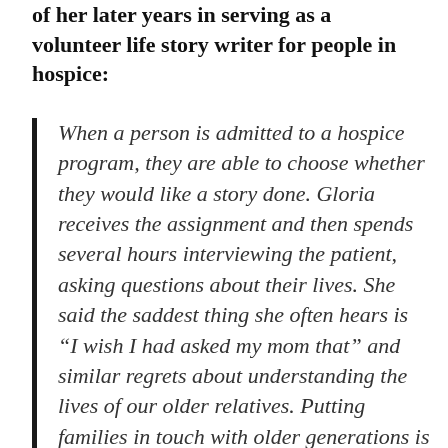of her later years in serving as a volunteer life story writer for people in hospice:
When a person is admitted to a hospice program, they are able to choose whether they would like a story done. Gloria receives the assignment and then spends several hours interviewing the patient, asking questions about their lives. She said the saddest thing she often hears is “I wish I had asked my mom that” and similar regrets about understanding the lives of our older relatives. Putting families in touch with older generations is part of her mission as a volunteer.